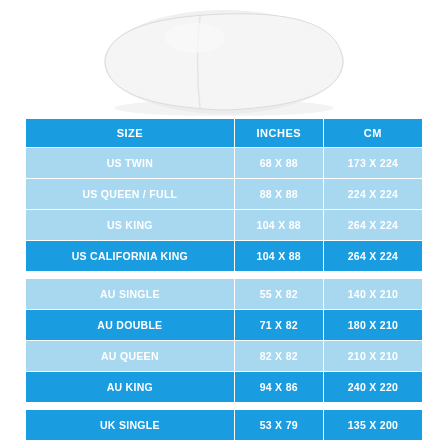[Figure (photo): White pillow or duvet product photo on white background]
| SIZE | INCHES | CM |
| --- | --- | --- |
| US TWIN | 68 X 88 | 173 X 224 |
| US QUEEN / FULL | 88 X 88 | 224 X 224 |
| US KING | 104 X 88 | 264 X 224 |
| US CALIFORNIA KING | 104 X 88 | 264 X 224 |
| AU SINGLE | 55 X 82 | 140 X 210 |
| AU DOUBLE | 71 X 82 | 180 X 210 |
| AU QUEEN | 82 X 82 | 210 X 210 |
| AU KING | 94 X 86 | 240 X 220 |
| UK SINGLE | 53 X 79 | 135 X 200 |